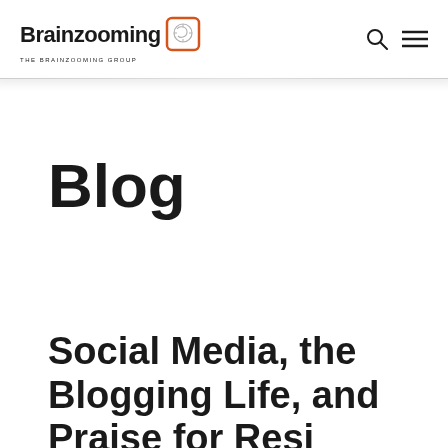Brainzooming THE BRAINZOOMING GROUP
Blog
Social Media, the Blogging Life, and Praise for Resi...